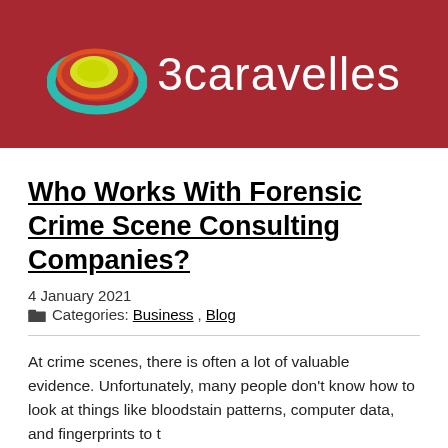[Figure (logo): 3caravelles logo: circular concentric rings in teal, red/orange, yellow on dark red background with white cursive text '3caravelles']
Who Works With Forensic Crime Scene Consulting Companies?
4 January 2021
Categories: Business, Blog
At crime scenes, there is often a lot of valuable evidence. Unfortunately, many people don't know how to look at things like bloodstain patterns, computer data, and fingerprints to t